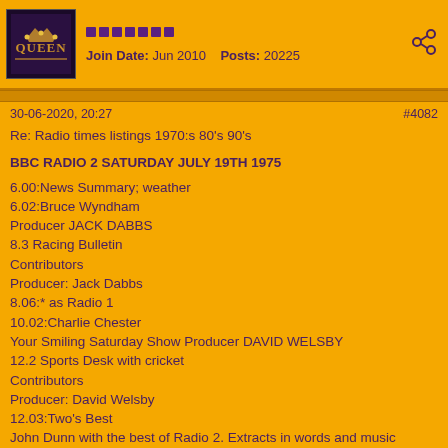Join Date: Jun 2010   Posts: 20225
30-06-2020, 20:27   #4082
Re: Radio times listings 1970:s 80's 90's
BBC RADIO 2 SATURDAY JULY 19TH 1975
6.00:News Summary; weather
6.02:Bruce Wyndham
Producer JACK DABBS
8.3 Racing Bulletin
Contributors
Producer: Jack Dabbs
8.06:* as Radio 1
10.02:Charlie Chester
Your Smiling Saturday Show Producer DAVID WELSBY
12.2 Sports Desk with cricket
Contributors
Producer: David Welsby
12.03:Two's Best
John Dunn with the best of Radio 2. Extracts in words and music selected from last week's programmes.
Script by STUART WEIR Producers STEVE ALLEN and JOHN MELOY
Contributors
Unknown: John Dunn
Script By: Stuart Weir
Producers: Steve Allen